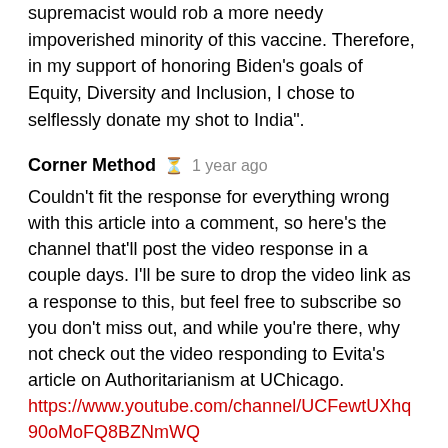supremacist would rob a more needy impoverished minority of this vaccine. Therefore, in my support of honoring Biden's goals of Equity, Diversity and Inclusion, I chose to selflessly donate my shot to India".
Corner Method  1 year ago
Couldn't fit the response for everything wrong with this article into a comment, so here's the channel that'll post the video response in a couple days. I'll be sure to drop the video link as a response to this, but feel free to subscribe so you don't miss out, and while you're there, why not check out the video responding to Evita's article on Authoritarianism at UChicago.
https://www.youtube.com/channel/UCFewtUXhq90oMoFQ8BZNmWQ
Corner Method  1 year ago
Someone else already posted it as a comment but the video on this article is up now, check it out to see all the everything wrong with it, with actual sources to back it up!